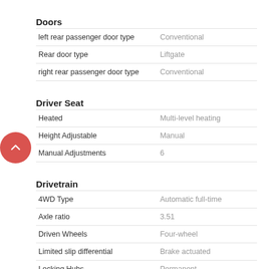Doors
| Feature | Value |
| --- | --- |
| left rear passenger door type | Conventional |
| Rear door type | Liftgate |
| right rear passenger door type | Conventional |
Driver Seat
| Feature | Value |
| --- | --- |
| Heated | Multi-level heating |
| Height Adjustable | Manual |
| Manual Adjustments | 6 |
Drivetrain
| Feature | Value |
| --- | --- |
| 4WD Type | Automatic full-time |
| Axle ratio | 3.51 |
| Driven Wheels | Four-wheel |
| Limited slip differential | Brake actuated |
| Locking Hubs | Permanent |